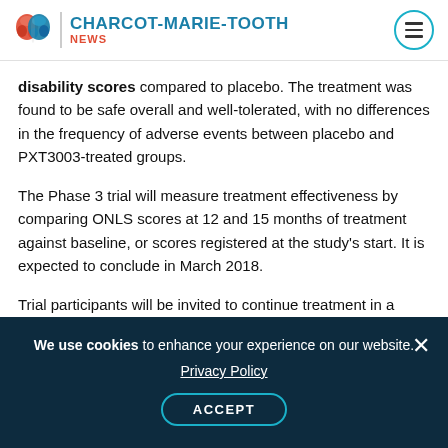CHARCOT-MARIE-TOOTH NEWS
disability scores compared to placebo. The treatment was found to be safe overall and well-tolerated, with no differences in the frequency of adverse events between placebo and PXT3003-treated groups.
The Phase 3 trial will measure treatment effectiveness by comparing ONLS scores at 12 and 15 months of treatment against baseline, or scores registered at the study's start. It is expected to conclude in March 2018.
Trial participants will be invited to continue treatment in a nine-month extension study, called
We use cookies to enhance your experience on our website. Privacy Policy ACCEPT